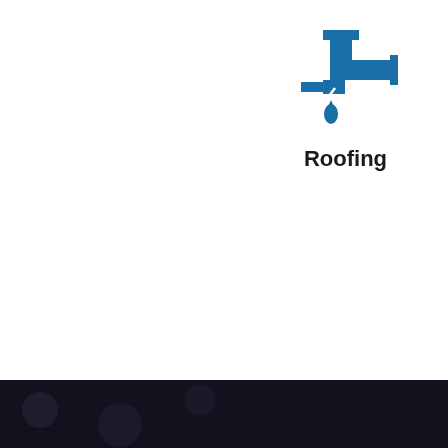[Figure (logo): Roofing logo: blue pipe/plumbing icon with water drop, above bold text 'Roofing']
[Figure (other): Navigation carousel previous and next arrow buttons (left and right chevrons in square boxes)]
[Figure (other): Dark footer section with blurred background image and a back-to-top button (double chevron up icon in dark square)]